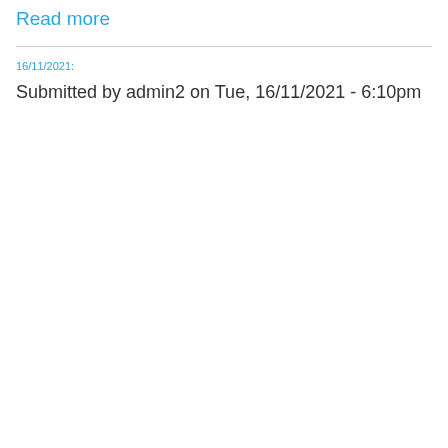Read more
16/11/2021:
Submitted by admin2 on Tue, 16/11/2021 - 6:10pm